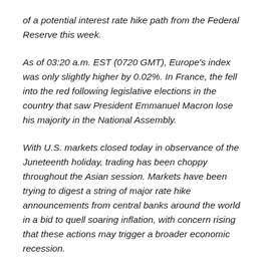of a potential interest rate hike path from the Federal Reserve this week.
As of 03:20 a.m. EST (0720 GMT), Europe's index was only slightly higher by 0.02%. In France, the fell into the red following legislative elections in the country that saw President Emmanuel Macron lose his majority in the National Assembly.
With U.S. markets closed today in observance of the Juneteenth holiday, trading has been choppy throughout the Asian session. Markets have been trying to digest a string of major rate hike announcements from central banks around the world in a bid to quell soaring inflation, with concern rising that these actions may trigger a broader economic recession.